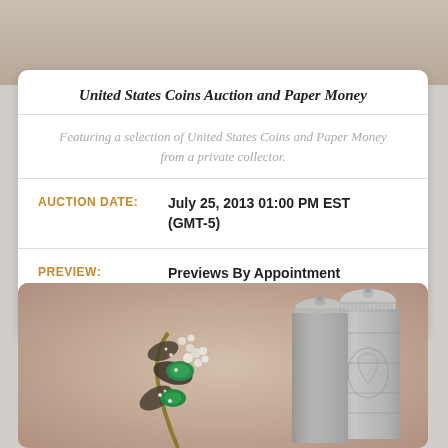[Figure (photo): Top portion of auction listing card with beige/taupe background photo]
United States Coins Auction and Paper Money
Featuring a selection of United States Coins and Paper Money from a private collector.
AUCTION DATE: July 25, 2013 01:00 PM EST (GMT-5)
PREVIEW: Previews By Appointment
Terms & Conditions | View Online Catalogue >
[Figure (photo): Bottom photo showing a decorative gemstone brooch with emeralds, pearls and diamonds alongside ornate silver canisters/containers]